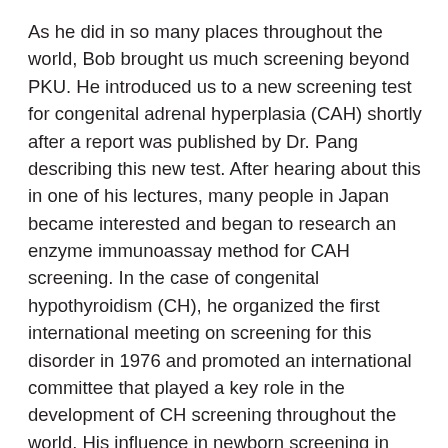As he did in so many places throughout the world, Bob brought us much screening beyond PKU. He introduced us to a new screening test for congenital adrenal hyperplasia (CAH) shortly after a report was published by Dr. Pang describing this new test. After hearing about this in one of his lectures, many people in Japan became interested and began to research an enzyme immunoassay method for CAH screening. In the case of congenital hypothyroidism (CH), he organized the first international meeting on screening for this disorder in 1976 and promoted an international committee that played a key role in the development of CH screening throughout the world. His influence in newborn screening in Asia did not end with Japan. He visited China twice and was instrumental in the development of newborn screening in Beijing and in getting low phenylalanine milk to Beijing and Shanghai. He did the same for newborn screening in Taiwan. Not long before his death, Bob asked me about the possibility of initiating nationwide screening in Korea and countries in